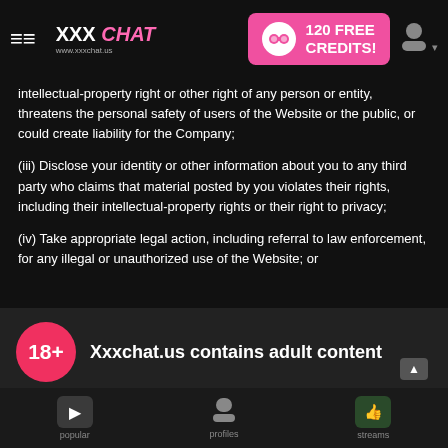XXX CHAT www.xxxchat.us | 120 FREE CREDITS!
intellectual-property right or other right of any person or entity, threatens the personal safety of users of the Website or the public, or could create liability for the Company;
(iii) Disclose your identity or other information about you to any third party who claims that material posted by you violates their rights, including their intellectual-property rights or their right to privacy;
(iv) Take appropriate legal action, including referral to law enforcement, for any illegal or unauthorized use of the Website; or
(v) Terminate or suspend your access to all or part of the Website for any reason, including any violation of this
(b) The Company will fully cooperate with any law enforcement authorities or court order requesting or directing
the posting any materials on or through the Website. You waive, and hold harmless the Company and the Company
Xxxchat.us contains adult content
By using the site, you acknowledge you have read our Privacy Policy, and agree to our Terms and Conditions.
We use cookies to optimize your experience, analyze traffic, and deliver more personalized service. To learn more, please see our Privacy Policy.
I AGREE